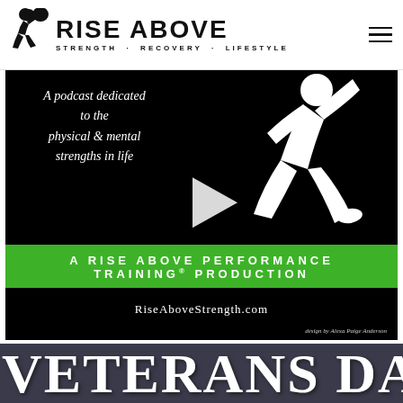[Figure (logo): Rise Above logo with athlete silhouette carrying a boulder, text reading RISE ABOVE STRENGTH · RECOVERY · LIFESTYLE]
[Figure (screenshot): Podcast promotional image on black background. Text: 'A podcast dedicated to the physical & mental strengths in life'. Shows white silhouette of athlete. Green banner: 'A RISE ABOVE PERFORMANCE TRAINING® PRODUCTION'. Website: RiseAboveStrength.com. Design by Alexa Paige Anderson. Play button overlay in center.]
VETERANS DAY